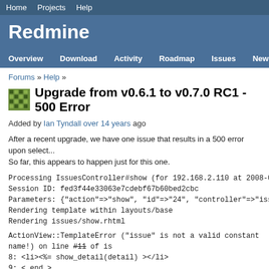Home   Projects   Help
Redmine
Overview   Download   Activity   Roadmap   Issues   News   W...
Forums » Help »
Upgrade from v0.6.1 to v0.7.0 RC1 - 500 Error
Added by Ian Tyndall over 14 years ago
After a recent upgrade, we have one issue that results in a 500 error upon select... So far, this appears to happen just for this one.
Processing IssuesController#show (for 192.168.2.110 at 2008-04-23 10:40:08) [G...
Session ID: fed3f44e33063e7cdebf67b60bed2cbc
Parameters: {"action"=>"show", "id"=>"24", "controller"=>"issues"}
Rendering template within layouts/base
Rendering issues/show.rhtml
ActionView::TemplateError ("issue" is not a valid constant name!) on line #11 of is...
8: <li><%= show_detail(detail) ></li>
9: < end >
10: </ul>
11: <= render_notes(journal) unless journal.notes.blank? >
12: </div>
13: < end %>
vendor/rails/activesupport/lib/active_support/inflector...